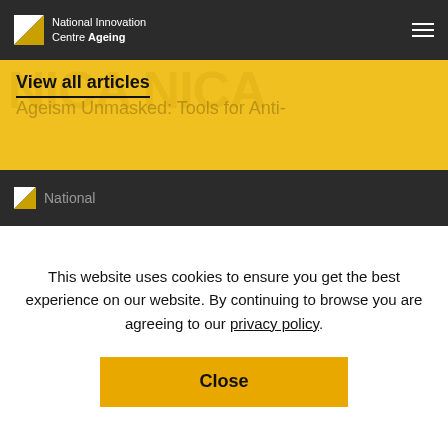National Innovation Centre Ageing
View all articles
Ageism Unmasked: Tools for Anti-
This website uses cookies to ensure you get the best experience on our website. By continuing to browse you are agreeing to our privacy policy.
Close